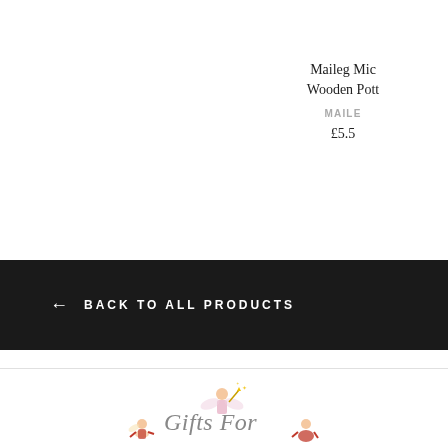Maileg Mic
Wooden Pott
MAILE
£5.5
← BACK TO ALL PRODUCTS
[Figure (logo): Gifts For logo with illustrated fairy and child figures]